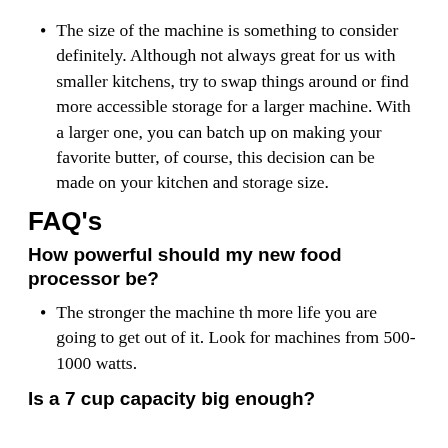The size of the machine is something to consider definitely. Although not always great for us with smaller kitchens, try to swap things around or find more accessible storage for a larger machine. With a larger one, you can batch up on making your favorite butter, of course, this decision can be made on your kitchen and storage size.
FAQ's
How powerful should my new food processor be?
The stronger the machine th more life you are going to get out of it. Look for machines from 500-1000 watts.
Is a 7 cup capacity big enough?